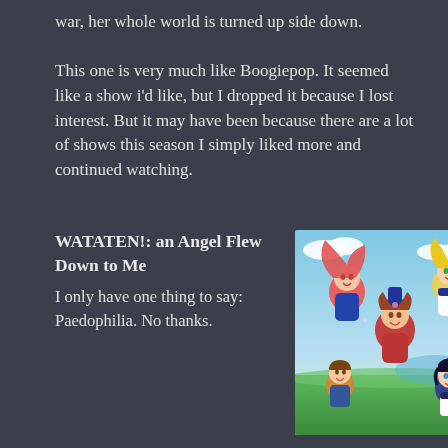war, her whole world is turned up side down.

This one is very much like Boogiepop. It seemed like a show i'd like, but I dropped it because I lost interest. But it may have been because there are a lot of shows this season I simply liked more and continued watching.
WATATEN!: an Angel Flew Down to Me
I only have one thing to say: Paedophilia. No thanks.
[Figure (illustration): Anime illustration showing several cheerful anime girl characters with colorful hair (red, blonde, dark) and a young boy, in school uniforms and casual clothes, against a bright sky and green field background.]